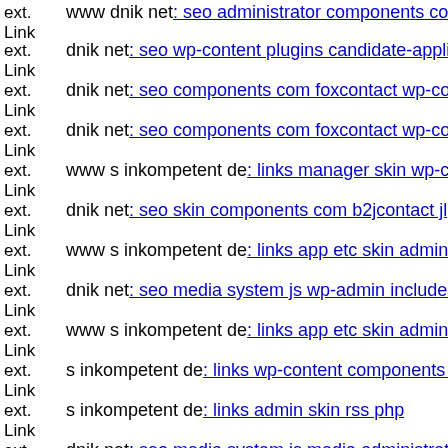ext. Link www dnik net: seo administrator components com bt portfono...
ext. Link dnik net: seo wp-content plugins candidate-application-form w...
ext. Link dnik net: seo components com foxcontact wp-content themes s...
ext. Link dnik net: seo components com foxcontact wp-content themes n...
ext. Link www s inkompetent de: links manager skin wp-content plugins...
ext. Link dnik net: seo skin components com b2jcontact jlg php
ext. Link www s inkompetent de: links app etc skin administrator admin...
ext. Link dnik net: seo media system js wp-admin includes components v...
ext. Link www s inkompetent de: links app etc skin administrator compo...
ext. Link s inkompetent de: links wp-content components h1643027850
ext. Link s inkompetent de: links admin skin rss php
ext. Link dnik net: seo media system js media administrator components...